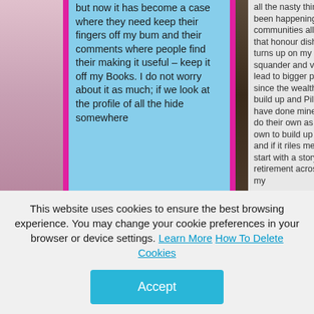[Figure (photo): Two-column layout with photos on left and right sides, pink/magenta vertical dividers, a blue-background text column on the left and a gray-background text column on the right showing blog post content.]
but now it has become a case where they need keep their fingers off my bum and their comments where people find their making it useful – keep it off my Books. I do not worry about it as much; if we look at the profile of all the hide somewhere
all the nasty things which have been happening in the communities all this time; so its that honour dishonour story that turns up on my concerns with squander and violence that will lead to bigger problems too – since the wealth they want to build up and Pile high claiming I have done mine and they need do their own as well was their own to build up in the first place and if it riles me, we will likely start with a story of compulsory retirement across the board for my
This website uses cookies to ensure the best browsing experience. You may change your cookie preferences in your browser or device settings. Learn More How To Delete Cookies
Accept